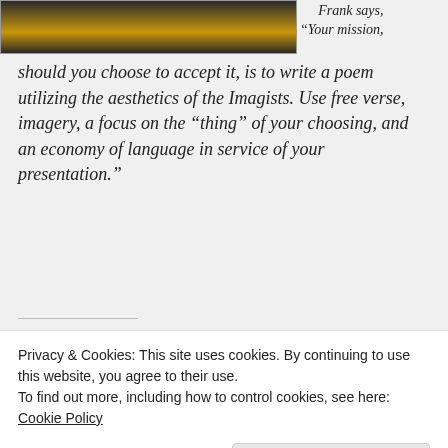[Figure (photo): Partial view of a yellow/dark oval object on a dark background, cropped at top]
Frank says, “Your mission, should you choose to accept it, is to write a poem utilizing the aesthetics of the Imagists. Use free verse, imagery, a focus on the “thing” of your choosing, and an economy of language in service of your presentation.”
Share this:
Twitter
Facebook
Like
Privacy & Cookies: This site uses cookies. By continuing to use this website, you agree to their use.
To find out more, including how to control cookies, see here: Cookie Policy
Close and accept
Cast Iron #GhostChickenStory